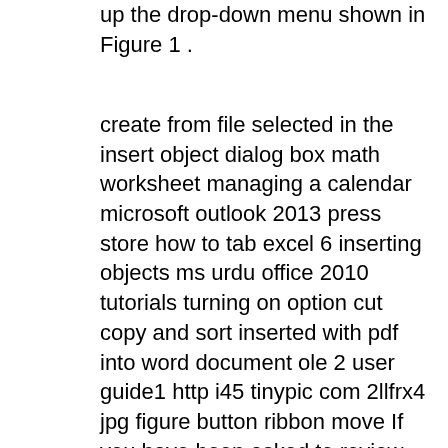up the drop-down menu shown in Figure 1 .
create from file selected in the insert object dialog box math worksheet managing a calendar microsoft outlook 2013 press store how to tab excel 6 inserting objects ms urdu office 2010 tutorials turning on option cut copy and sort inserted with pdf into word document ole 2 user guide1 http i45 tinypic com 2llfrx4 jpg figure button ribbon move If you have been asked to review someone elseBh™s presentation, one of the easiest ways of doing this is to add comments. Previous versions of PowerPoint allowed you to do this but PowerPoint 2013 has